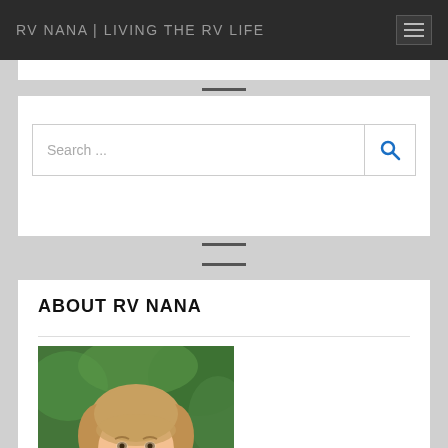RV NANA | LIVING THE RV LIFE
ABOUT RV NANA
[Figure (photo): Portrait photo of a smiling middle-aged woman with short blonde hair and gold earrings, set against a green outdoor background.]